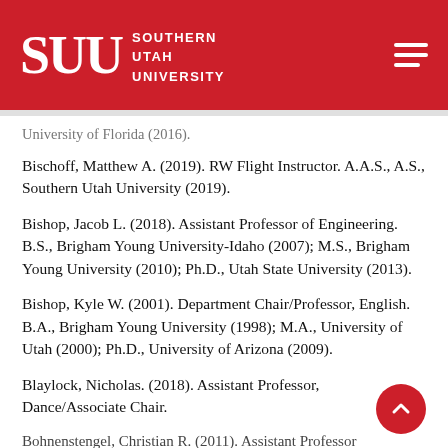SUU SOUTHERN UTAH UNIVERSITY
University of Florida (2016).
Bischoff, Matthew A. (2019). RW Flight Instructor. A.A.S., A.S., Southern Utah University (2019).
Bishop, Jacob L. (2018). Assistant Professor of Engineering. B.S., Brigham Young University-Idaho (2007); M.S., Brigham Young University (2010); Ph.D., Utah State University (2013).
Bishop, Kyle W. (2001). Department Chair/Professor, English. B.A., Brigham Young University (1998); M.A., University of Utah (2000); Ph.D., University of Arizona (2009).
Blaylock, Nicholas. (2018). Assistant Professor, Dance/Associate Chair.
Bohnenstengel, Christian R. (2011). Assistant Professor